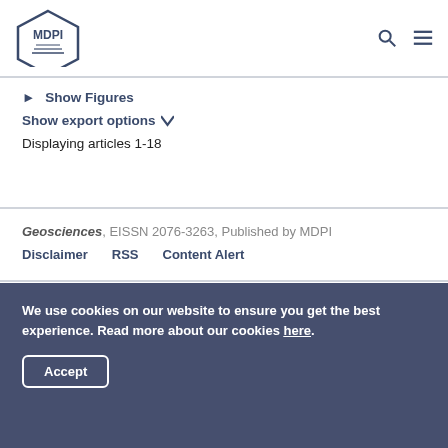MDPI
► Show Figures
Show export options ▾
Displaying articles 1-18
Geosciences, EISSN 2076-3263, Published by MDPI
Disclaimer    RSS    Content Alert
We use cookies on our website to ensure you get the best experience. Read more about our cookies here.
Accept